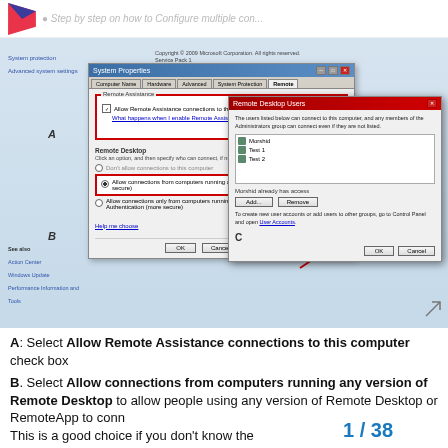Step by step on how to Configure multiple con...
[Figure (screenshot): Windows System Properties dialog showing Remote tab with Remote Assistance and Remote Desktop sections. Section A highlights the 'Allow Remote Assistance connections to this computer' checkbox. Section B highlights the 'Allow connections from computers running any version of Remote Desktop (less secure)' radio button. A 'Select Users...' button is shown. An overlapping 'Remote Desktop Users' dialog (labeled C) shows users Morshid, Test 1, Test 2 listed, with Add and Remove buttons.]
A: Select Allow Remote Assistance connections to this computer check box
B. Select Allow connections from computers running any version of Remote Desktop to allow people using any version of Remote Desktop or RemoteApp to conn This is a good choice if you don't know the
1 / 38